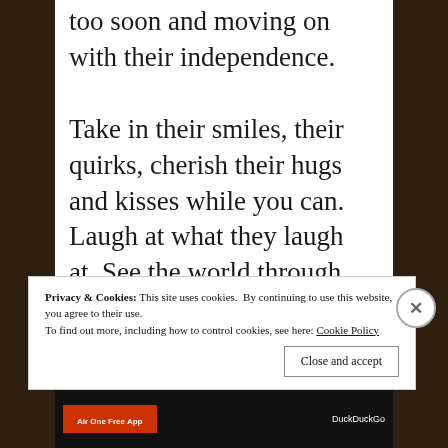too soon and moving on with their independence.
Take in their smiles, their quirks, cherish their hugs and kisses while you can. Laugh at what they laugh at. See the world through their awed eyes. Hold them close.
Privacy & Cookies: This site uses cookies. By continuing to use this website, you agree to their use.
To find out more, including how to control cookies, see here: Cookie Policy
Close and accept